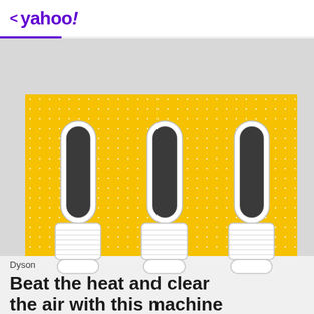< yahoo!
[Figure (photo): Three Dyson bladeless fan/air purifier tower units arranged side by side against a yellow polka-dot background on a light gray page.]
Dyson
Beat the heat and clear the air with this machine